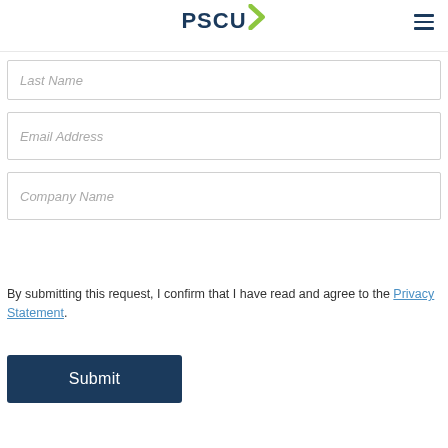PSCU
Last Name
Email Address
Company Name
By submitting this request, I confirm that I have read and agree to the Privacy Statement.
Submit